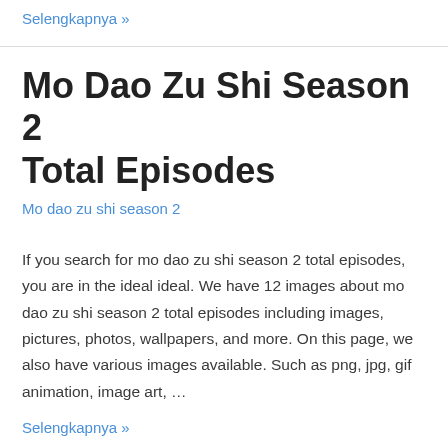Selengkapnya »
Mo Dao Zu Shi Season 2 Total Episodes
Mo dao zu shi season 2
If you search for mo dao zu shi season 2 total episodes, you are in the ideal ideal. We have 12 images about mo dao zu shi season 2 total episodes including images, pictures, photos, wallpapers, and more. On this page, we also have various images available. Such as png, jpg, gif animation, image art, …
Selengkapnya »
Mo Dao Zu Shi Season 1 And…